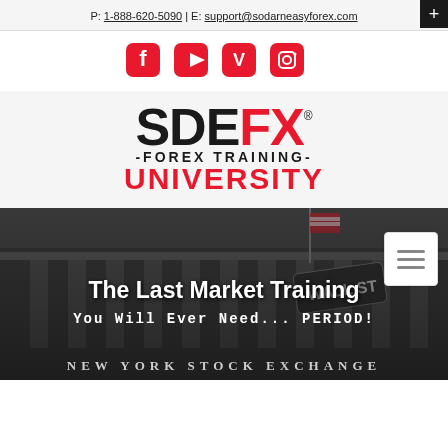P: 1-888-620-5090 | E: support@sodarneasyforex.com
[Figure (logo): Social media icons: Facebook, YouTube, Vimeo, Instagram — red square rounded icons]
[Figure (logo): SDEFX Forex Training University logo — SDE in black bold, FX in red bold, -FOREX TRAINING- in black, UNIVERSITY in red]
[Figure (photo): Black and white photo of New York Stock Exchange building with Wall St street sign and American flag. Overlay text: 'The Last Market Training' and 'You Will Ever Need... PERIOD!' and 'NEW YORK STOCK EXCHANGE' at the bottom.]
The Last Market Training
You Will Ever Need... PERIOD!